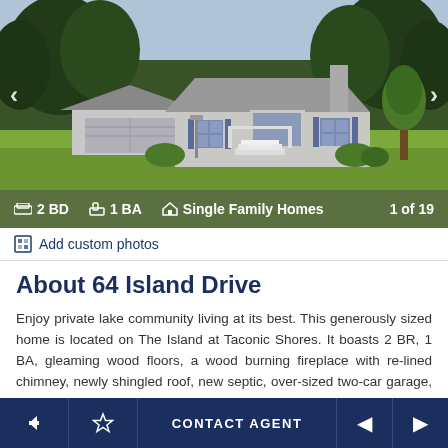[Figure (photo): Exterior photo of a single-family home with gray siding, white trim, attached garage, white wooden porch steps, green lawn, and trees in the background. Navigation arrows on left and right sides.]
2 BD   1 BA   Single Family Homes   1 of 19
Add custom photos
About 64 Island Drive
Enjoy private lake community living at its best. This generously sized home is located on The Island at Taconic Shores. It boasts 2 BR, 1 BA, gleaming wood floors, a wood burning fireplace with re-lined chimney, newly shingled roof, new septic, over-sized two-car garage, double lot and a full basement. The home also offers several locations with potential to be finished for an additional bedroom, or studio, spaceTaconic, Shores is a private lake
← ☆ CONTACT AGENT ◄ ►